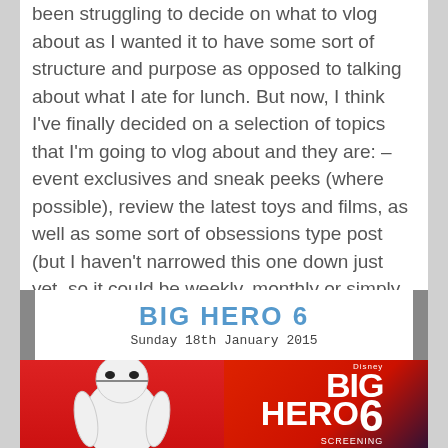been struggling to decide on what to vlog about as I wanted it to have some sort of structure and purpose as opposed to talking about what I ate for lunch. But now, I think I've finally decided on a selection of topics that I'm going to vlog about and they are: – event exclusives and sneak peeks (where possible), review the latest toys and films, as well as some sort of obsessions type post (but I haven't narrowed this one down just yet, so it could be weekly, monthly or simply sporadic!).
[Figure (photo): Big Hero 6 event image: white banner with 'BIG HERO 6' title and 'Sunday 18th January 2015' subtitle, below which are two photos side by side — left showing the Baymax character on a red background, right showing a Big Hero 6 illuminated cinema sign on a red background.]